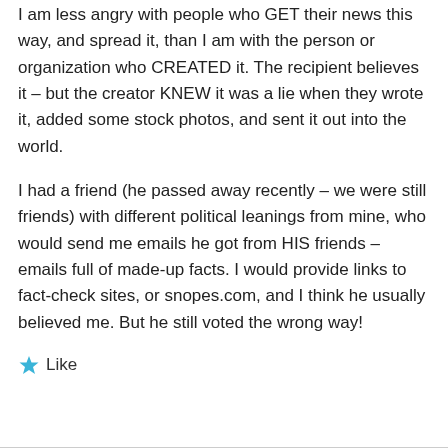I am less angry with people who GET their news this way, and spread it, than I am with the person or organization who CREATED it. The recipient believes it – but the creator KNEW it was a lie when they wrote it, added some stock photos, and sent it out into the world.
I had a friend (he passed away recently – we were still friends) with different political leanings from mine, who would send me emails he got from HIS friends – emails full of made-up facts. I would provide links to fact-check sites, or snopes.com, and I think he usually believed me. But he still voted the wrong way!
★ Like